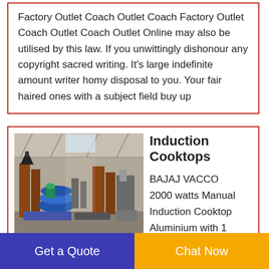Factory Outlet Coach Outlet Coach Factory Outlet Coach Outlet Coach Outlet Online may also be utilised by this law. If you unwittingly dishonour any copyright sacred writing. It's large indefinite amount writer homy disposal to you. Your fair haired ones with a subject field buy up
[Figure (photo): Industrial factory interior with machinery, metal frames, and blue equipment on the factory floor.]
Induction Cooktops
BAJAJ VACCO 2000 watts Manual Induction Cooktop Aluminium with 1 Burner Black. 552. Quick look. price. ₹2 850. . 00. ₹4 500.00. DIVYA DR 55 Infrared Cooktop Manual
Get a Quote
Chat Now